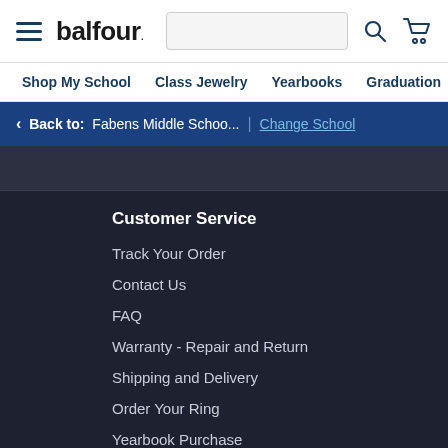balfour.
Shop My School | Class Jewelry | Yearbooks | Graduation | Sc
< Back to: Fabens Middle Schoo... | Change School
Customer Service
Track Your Order
Contact Us
FAQ
Warranty - Repair and Return
Shipping and Delivery
Order Your Ring
Yearbook Purchase